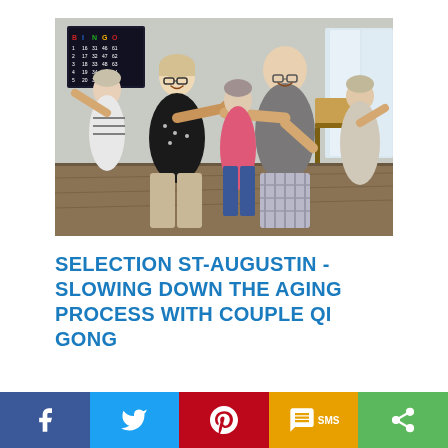[Figure (photo): Group of elderly people doing Qi Gong exercises in a room with chairs. A woman in a black polka-dot top and a bald man in a grey t-shirt are in the foreground doing martial-arts-like poses. Several other seniors exercise in the background near a bingo board on the wall.]
SELECTION ST-AUGUSTIN - SLOWING DOWN THE AGING PROCESS WITH COUPLE QI GONG
[Figure (infographic): Social sharing bar with five buttons: Facebook (blue), Twitter (light blue), Pinterest (red), SMS (yellow/orange), Share (green)]